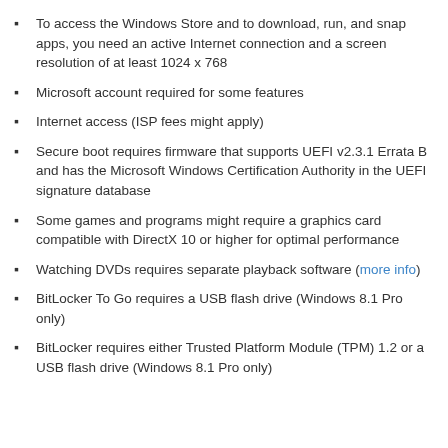To access the Windows Store and to download, run, and snap apps, you need an active Internet connection and a screen resolution of at least 1024 x 768
Microsoft account required for some features
Internet access (ISP fees might apply)
Secure boot requires firmware that supports UEFI v2.3.1 Errata B and has the Microsoft Windows Certification Authority in the UEFI signature database
Some games and programs might require a graphics card compatible with DirectX 10 or higher for optimal performance
Watching DVDs requires separate playback software (more info)
BitLocker To Go requires a USB flash drive (Windows 8.1 Pro only)
BitLocker requires either Trusted Platform Module (TPM) 1.2 or a USB flash drive (Windows 8.1 Pro only)